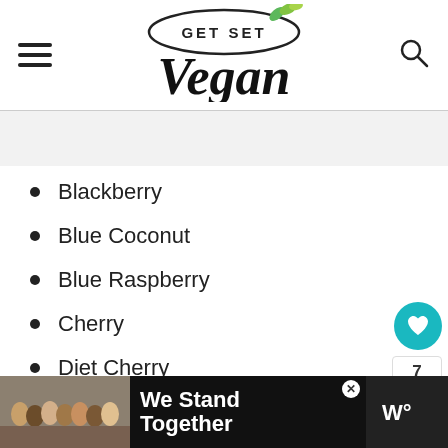Get Set Vegan
Blackberry
Blue Coconut
Blue Raspberry
Cherry
Diet Cherry
French Vanilla
Grape
Mango
Peach
We Stand Together